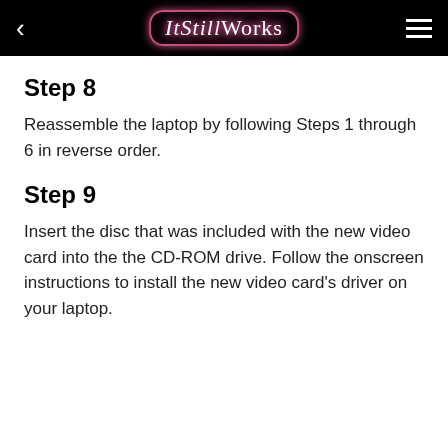ItStillWorks
Step 8
Reassemble the laptop by following Steps 1 through 6 in reverse order.
Step 9
Insert the disc that was included with the new video card into the the CD-ROM drive. Follow the onscreen instructions to install the new video card's driver on your laptop.